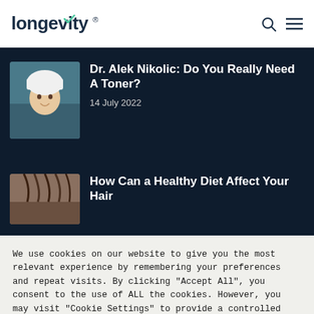longevity®
Dr. Alek Nikolic: Do You Really Need A Toner?
14 July 2022
How Can a Healthy Diet Affect Your Hair
[Figure (photo): Person with white towel on head, bathroom background]
[Figure (photo): Hair-related image, partially visible]
We use cookies on our website to give you the most relevant experience by remembering your preferences and repeat visits. By clicking "Accept All", you consent to the use of ALL the cookies. However, you may visit "Cookie Settings" to provide a controlled consent.